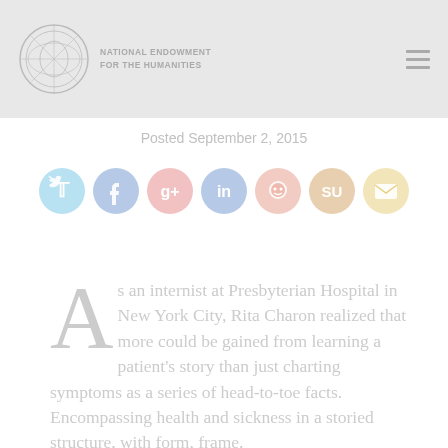NATIONAL ENDOWMENT FOR THE HUMANITIES
Posted September 2, 2015
[Figure (infographic): Row of 7 social media sharing icons: Twitter (blue), Facebook (blue), Google+ (red), LinkedIn (blue), Reddit (orange-red), StumbleUpon (orange), Email (yellow)]
As an internist at Presbyterian Hospital in New York City, Rita Charon realized that more could be gained from learning a patient's story than just charting symptoms as a series of head-to-toe facts. Encompassing health and sickness in a storied structure, with form, frame,